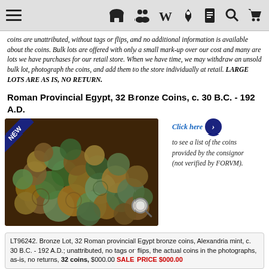Navigation bar with menu, store, group, Wikipedia, pin, document, search, and cart icons
coins are unattributed, without tags or flips, and no additional information is available about the coins. Bulk lots are offered with only a small mark-up over our cost and many are lots we have purchases for our retail store. When we have time, we may withdraw an unsold bulk lot, photograph the coins, and add them to the store individually at retail. LARGE LOTS ARE AS IS, NO RETURN.
Roman Provincial Egypt, 32 Bronze Coins, c. 30 B.C. - 192 A.D.
[Figure (photo): Pile of Roman provincial Egypt bronze coins with NEW badge in top-left corner and magnifying glass icon in bottom-right corner]
Click here to see a list of the coins provided by the consignor (not verified by FORVM).
LT96242. Bronze Lot, 32 Roman provincial Egypt bronze coins, Alexandria mint, c. 30 B.C. - 192 A.D.; unattributed, no tags or flips, the actual coins in the photographs, as-is, no returns, 32 coins, $000.00 SALE PRICE $000.00